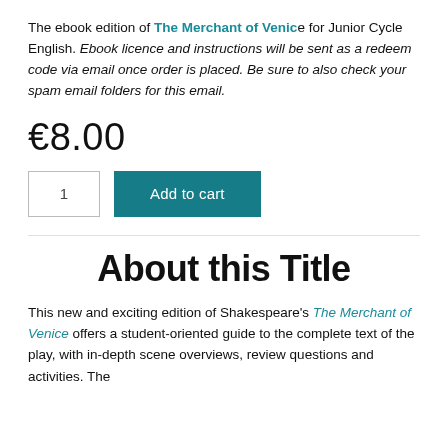The ebook edition of The Merchant of Venice for Junior Cycle English. Ebook licence and instructions will be sent as a redeem code via email once order is placed. Be sure to also check your spam email folders for this email.
€8.00
1 | Add to cart
About this Title
This new and exciting edition of Shakespeare's The Merchant of Venice offers a student-oriented guide to the complete text of the play, with in-depth scene overviews, review questions and activities. The